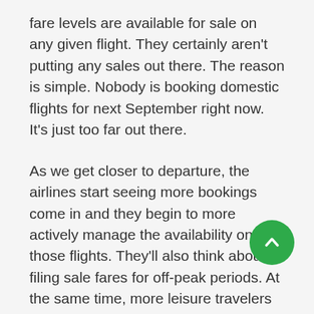fare levels are available for sale on any given flight. They certainly aren't putting any sales out there. The reason is simple. Nobody is booking domestic flights for next September right now. It's just too far out there.
As we get closer to departure, the airlines start seeing more bookings come in and they begin to more actively manage the availability on those flights. They'll also think about filing sale fares for off-peak periods. At the same time, more leisure travelers begin coming into the window when they want to start booking. Lower fares and more demand mean that the average fare is going to come down.
At about 2 months out, ARC shows that fares start creeping up, but it should be pointed out that it's not